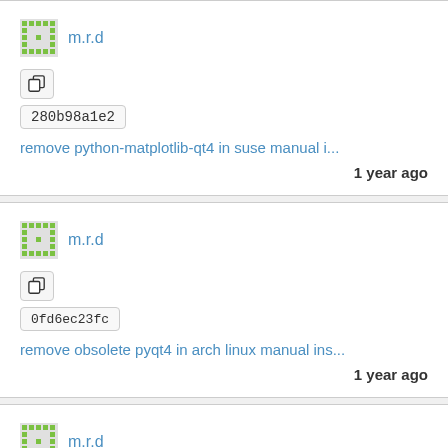m.r.d
280b98a1e2
remove python-matplotlib-qt4 in suse manual i...
1 year ago
m.r.d
0fd6ec23fc
remove obsolete pyqt4 in arch linux manual ins...
1 year ago
m.r.d